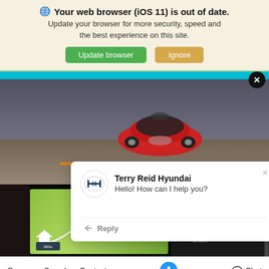[Figure (screenshot): Browser outdated warning banner with 'Update browser' green button and 'Ignore' orange button, followed by a Hyundai dealership website showing a red sports car and an infotainment system screenshot, with a chat popup from Terry Reid Hyundai saying 'Hello! How can I help you?' and a bottom navigation bar with Garage, Search, Contact, accessibility icon, and Chat links.]
Your web browser (iOS 11) is out of date. Update your browser for more security, speed and the best experience on this site.
Update browser   Ignore
Terry Reid Hyundai
Hello! How can I help you?
Reply
Garage   Search   Contact   Chat